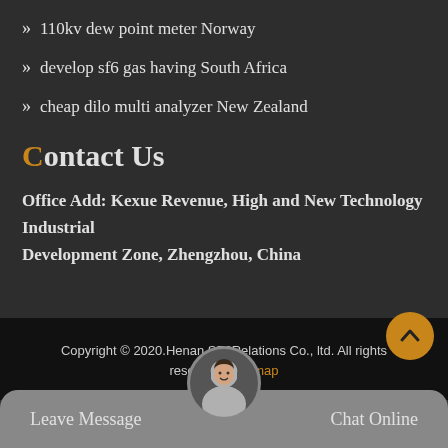110kv dew point meter Norway
develop sf6 gas having South Africa
cheap dilo multi analyzer New Zealand
Contact Us
Office Add: Kexue Revenue, High and New Technology Industrial Development Zone, Zhengzhou, China
Copyright © 2020.Henan SF6Relations Co., ltd. All rights reserved. Sitemap
Leave Message
Chat Online